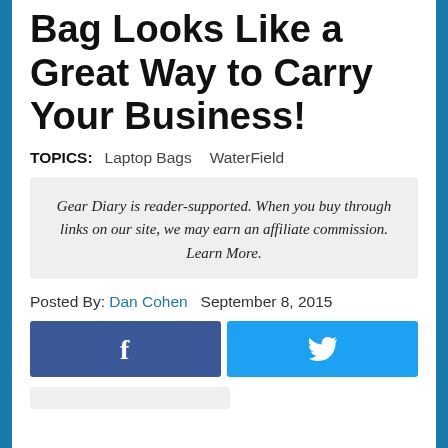Bag Looks Like a Great Way to Carry Your Business!
TOPICS:   Laptop Bags   WaterField
Gear Diary is reader-supported. When you buy through links on our site, we may earn an affiliate commission. Learn More.
Posted By: Dan Cohen   September 8, 2015
[Figure (other): Facebook share button (dark blue with 'f' icon) and Twitter share button (cyan blue with bird icon), side by side]